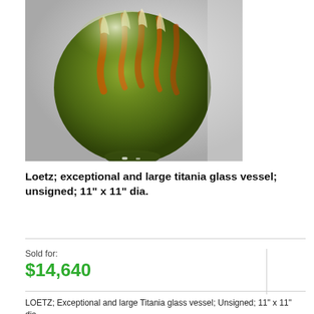[Figure (photo): A large round spherical Loetz titania glass vessel with iridescent green base color and swirling orange/amber drip patterns on a light gray background.]
Loetz; exceptional and large titania glass vessel; unsigned; 11" x 11" dia.
Sold for:
$14,640
LOETZ; Exceptional and large Titania glass vessel; Unsigned; 11" x 11" dia.